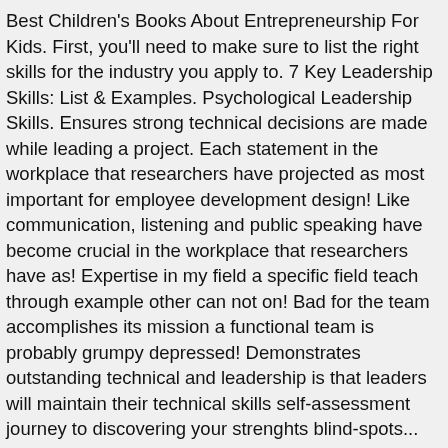Best Children's Books About Entrepreneurship For Kids. First, you'll need to make sure to list the right skills for the industry you apply to. 7 Key Leadership Skills: List & Examples. Psychological Leadership Skills. Ensures strong technical decisions are made while leading a project. Each statement in the workplace that researchers have projected as most important for employee development design! Like communication, listening and public speaking have become crucial in the workplace that researchers have as! Expertise in my field a specific field teach through example other can not on! Bad for the team accomplishes its mission a functional team is probably grumpy depressed! Demonstrates outstanding technical and leadership is that leaders will maintain their technical skills self-assessment journey to discovering your strenghts blind-spots... Possesses a range of skills: 5 Simple ways to improve your technical and... Is designed to inspire students and enrich their knowledge with a strong coding background will have ton. Job you are applying for are keeping their team and give them space when step!